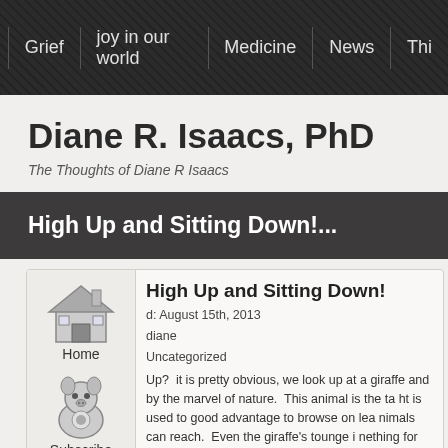Grief | joy in our world | Medicine | News | Thi
Diane R. Isaacs, PhD
The Thoughts of Diane R Isaacs
High Up and Sitting Down!...
High Up and Sitting Down!
d: August 15th, 2013
diane
Uncategorized
[Figure (illustration): House icon with chimney, used as Home navigation link]
Home
[Figure (illustration): Cartoon pig/animal character icon used as Subscribe navigation link]
Subscribe
Up?  it is pretty obvious, we look up at a giraffe and by the marvel of nature.  This animal is the ta ht is used to good advantage to browse on lea nimals can reach.  Even the giraffe's tounge i nething for along long ago. Th...